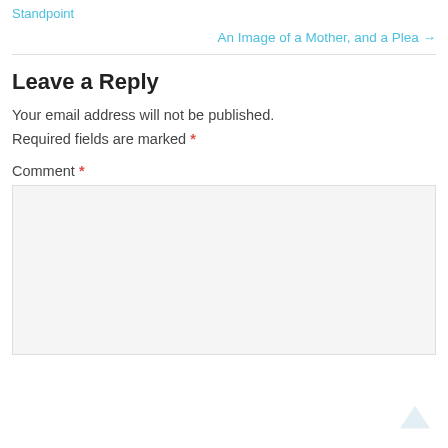Standpoint
An Image of a Mother, and a Plea →
Leave a Reply
Your email address will not be published.
Required fields are marked *
Comment *